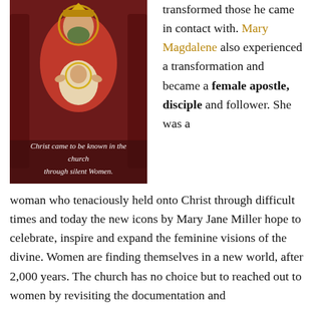[Figure (illustration): Religious icon painting of the Virgin Mary with infant Jesus, with overlaid white italic text reading 'Christ came to be known in the church through silent Women.']
transformed those he came in contact with. Mary Magdalene also experienced a transformation and became a female apostle, disciple and follower. She was a woman who tenaciously held onto Christ through difficult times and today the new icons by Mary Jane Miller hope to celebrate, inspire and expand the feminine visions of the divine. Women are finding themselves in a new world, after 2,000 years. The church has no choice but to reached out to women by revisiting the documentation and